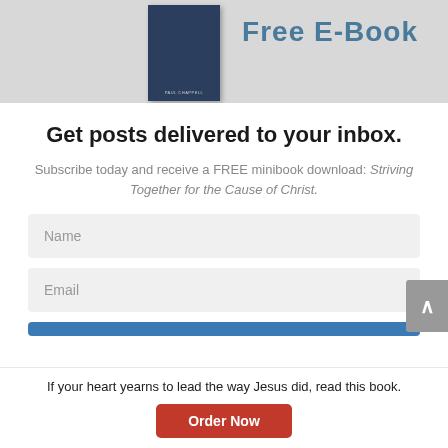[Figure (illustration): Top banner showing a dark blue book cover on the left against a gray background, with 'Free E-Book' text in teal/blue on the right]
Get posts delivered to your inbox.
Subscribe today and receive a FREE minibook download: Striving Together for the Cause of Christ.
Name
Email
If your heart yearns to lead the way Jesus did, read this book.
Order Now